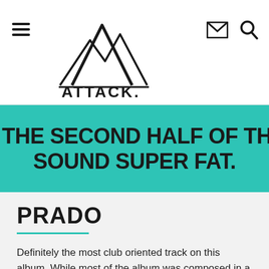ATTACK. [navigation header with logo, hamburger menu, mail icon, search icon]
EAK ON THE SECOND HALF OF THIS TUNE SOUND SUPER FAT.
PRADO
Definitely the most club oriented track on this album. While most of the album was composed in a period of change and turmoil for me, this track was composed at the end of that period at a happier point of my life. I think the heavier hemes and concepts in my head that I wanted to study had been fleshed out and all I